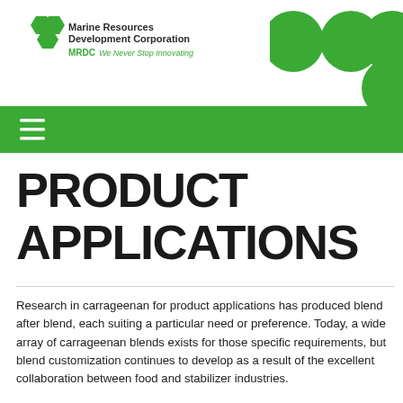[Figure (logo): Marine Resources Development Corporation (MRDC) logo with green hexagon icons and tagline 'We Never Stop Innovating']
[Figure (illustration): Four green circles decorative element in top right corner]
[Figure (other): Green navigation bar with hamburger menu icon (three white horizontal lines)]
PRODUCT APPLICATIONS
Research in carrageenan for product applications has produced blend after blend, each suiting a particular need or preference. Today, a wide array of carrageenan blends exists for those specific requirements, but blend customization continues to develop as a result of the excellent collaboration between food and stabilizer industries.